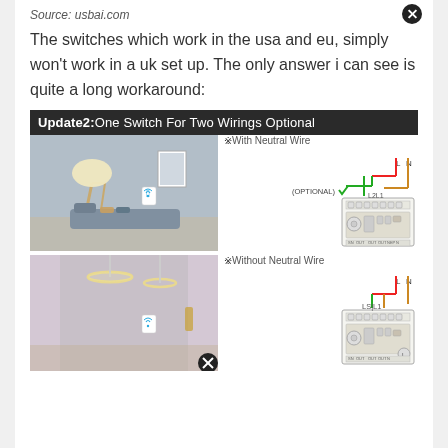Source: usbai.com
The switches which work in the usa and eu, simply won't work in a uk set up. The only answer i can see is quite a long workaround:
[Figure (schematic): Product banner: Update2: One Switch For Two Wirings Optional, showing two room photos with smart switches and two wiring diagrams — one 'With Neutral Wire' and one 'Without Neutral Wire'.]